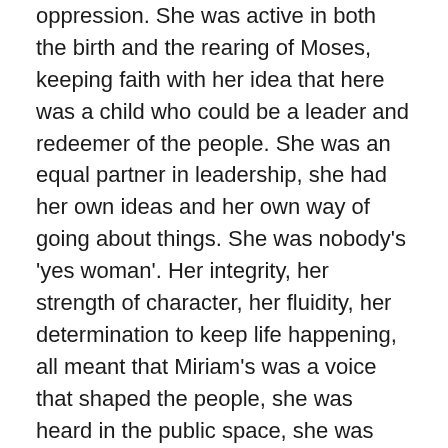oppression. She was active in both the birth and the rearing of Moses, keeping faith with her idea that here was a child who could be a leader and redeemer of the people. She was an equal partner in leadership, she had her own ideas and her own way of going about things. She was nobody's 'yes woman'. Her integrity, her strength of character, her fluidity, her determination to keep life happening, all meant that Miriam's was a voice that shaped the people, she was heard in the public space, she was respected even when she sometimes said things in a less than careful way, she was warm and caring and people knew it. Moses could be distant, his shyness and insecurities causing him to hide away sometimes. Aaron could be arrogant in his priestly garments and status. But Miriam was accessible to the people and they loved her for it, as she spoke out on their behalf and fought for their rights.